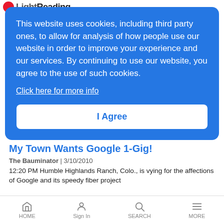Light Reading
This website uses cookies, including third party ones, to allow for analysis of how people use our website in order to improve your experience and our services. By continuing to use our website, you agree to the use of such cookies.
Click here for more info
I Agree
My Town Wants Google 1-Gig!
The Bauminator  |  3/10/2010
12:20 PM Humble Highlands Ranch, Colo., is vying for the affections of Google and its speedy fiber project
All Go for Kabel Deutschland's IPO
HOME  Sign In  SEARCH  MORE